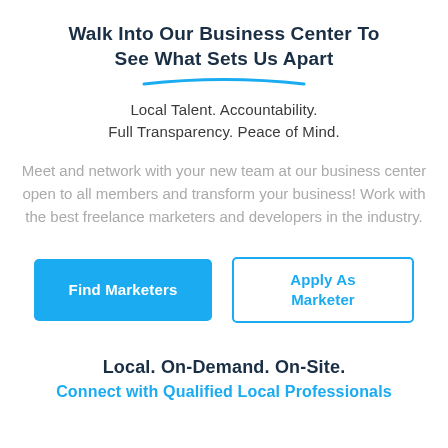Walk Into Our Business Center To See What Sets Us Apart
Local Talent. Accountability. Full Transparency. Peace of Mind.
Meet and network with your new team at our business center open to all members and transform your business! Work with the best freelance marketers and developers in the industry.
[Figure (other): Two call-to-action buttons: a filled blue 'Find Marketers' button and an outlined blue 'Apply As Marketer' button]
Local. On-Demand. On-Site.
Connect with Qualified Local Professionals